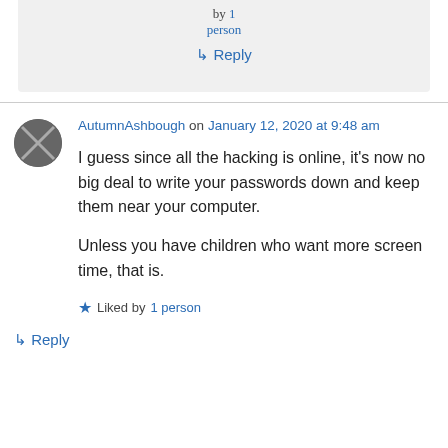Liked by 1 person
↳ Reply
AutumnAshbough on January 12, 2020 at 9:48 am
I guess since all the hacking is online, it's now no big deal to write your passwords down and keep them near your computer.

Unless you have children who want more screen time, that is.
Liked by 1 person
↳ Reply